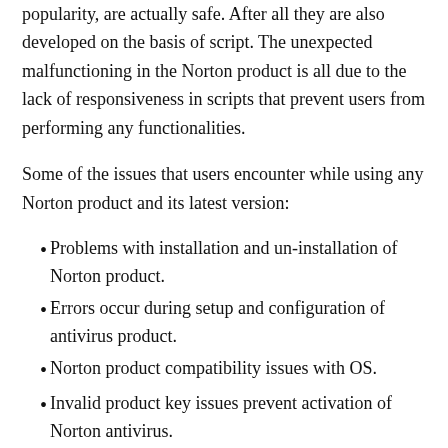popularity, are actually safe. After all they are also developed on the basis of script. The unexpected malfunctioning in the Norton product is all due to the lack of responsiveness in scripts that prevent users from performing any functionalities.
Some of the issues that users encounter while using any Norton product and its latest version:
Problems with installation and un-installation of Norton product.
Errors occur during setup and configuration of antivirus product.
Norton product compatibility issues with OS.
Invalid product key issues prevent activation of Norton antivirus.
Not able to detect and eliminate various files from PC...